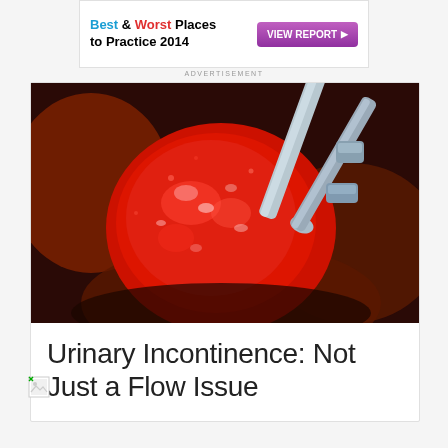[Figure (other): Advertisement banner: 'Best & Worst Places to Practice 2014' with a purple 'VIEW REPORT' button]
ADVERTISEMENT
[Figure (photo): Surgical photograph showing robotic or laparoscopic surgical instruments operating on bloody tissue/organ]
Urinary Incontinence: Not Just a Flow Issue
[Figure (other): Broken/unloaded image icon (small, bottom left)]